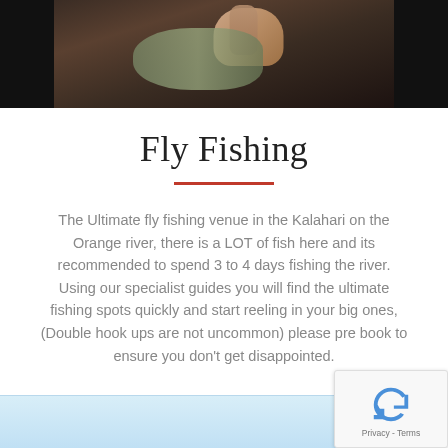[Figure (photo): Top portion of a photo showing a person holding a fish, dark background, visible fingers and fish body]
Fly Fishing
The Ultimate fly fishing venue in the Kalahari on the Orange river, there is a LOT of fish here and its recommended to spend 3 to 4 days fishing the river. Using our specialist guides you will find the ultimate fishing spots quickly and start reeling in your big ones, (Double hook ups are not uncommon) please pre book to ensure you don't get disappointed.
[Figure (photo): Bottom partial image with light blue background, appears to be a body of water or sky scene]
[Figure (other): reCAPTCHA badge with rotating arrows icon and Privacy - Terms text]